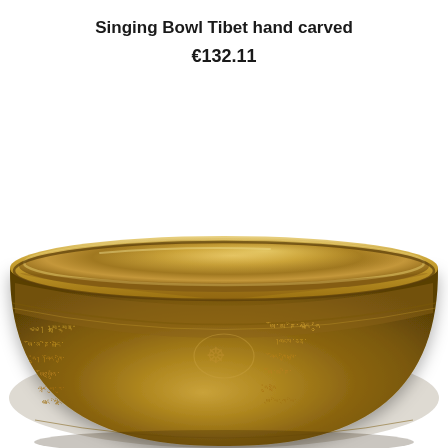Singing Bowl Tibet hand carved
€132.11
[Figure (photo): A hand-carved Tibetan singing bowl made of brass/bronze, shown from a slightly elevated angle. The bowl has a warm golden color with intricate Tibetan script and decorative motifs engraved around the exterior. The interior shows a smooth polished golden surface with some dark shadowing. The bowl sits with its rim visible at the top and carved decorations including what appears to be the Eight Auspicious Symbols around the exterior.]